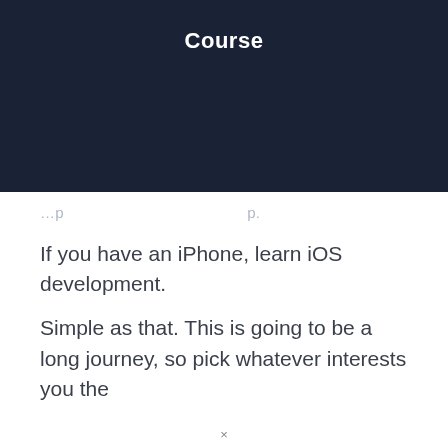Course
…y p
If you have an iPhone, learn iOS development.
Simple as that. This is going to be a long journey, so pick whatever interests you the
×